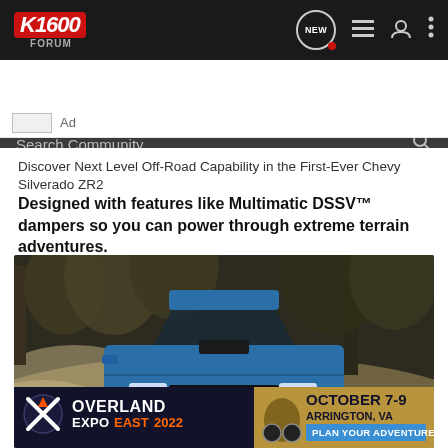K1600 Forum navigation bar with logo, NEW button, list icon, user icon, and more icon
Search Community
Ad
Discover Next Level Off-Road Capability in the First-Ever Chevy Silverado ZR2
Designed with features like Multimatic DSSV™ dampers so you can power through extreme terrain adventures.
[Figure (photo): Blue Chevy Silverado ZR2 truck driving off-road through dusty terrain with trees in background. Overland Expo East 2022 banner overlay at bottom showing October 7-9, Arrington VA with Plan Your Adventure CTA.]